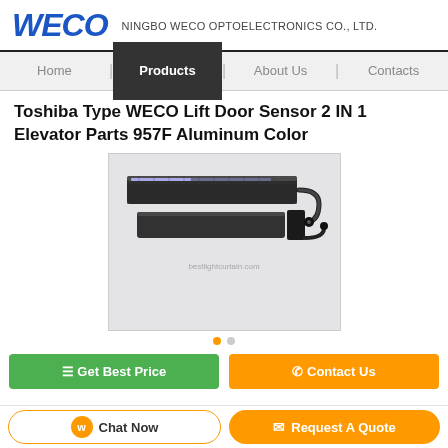WECO  NINGBO WECO OPTOELECTRONICS CO., LTD.
[Figure (screenshot): Navigation bar with Home, Products (active/selected), About Us, and Contacts menu items]
Toshiba Type WECO Lift Door Sensor 2 IN 1 Elevator Parts 957F Aluminum Color
[Figure (photo): Product photo of WECO lift door sensor - two elongated dark aluminum sensor bars with cable connectors, on a light gray background. Watermark text: 'bestlightcurtain.com']
[Figure (other): Dot navigation indicator (two dots, one orange active, one gray)]
Get Best Price
Contact Us
Chat Now   Request A Quote